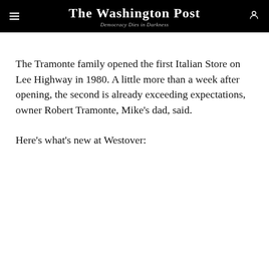The Washington Post — Democracy Dies in Darkness
The Tramonte family opened the first Italian Store on Lee Highway in 1980. A little more than a week after opening, the second is already exceeding expectations, owner Robert Tramonte, Mike's dad, said.
Here's what's new at Westover: